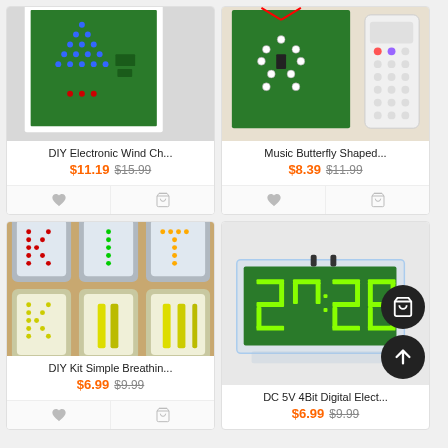[Figure (photo): DIY Electronic Wind Chimes LED circuit board kit in white frame with blue and red LEDs arranged as a wind chime pattern on green PCB]
DIY Electronic Wind Ch...
$11.19 $15.99
[Figure (photo): Music Butterfly Shaped LED electronic kit on green PCB with white LEDs and a white remote control]
Music Butterfly Shaped...
$8.39 $11.99
[Figure (photo): DIY Kit Simple Breathing Light LED cubes showing K, I, T letters in red, green, yellow LEDs in clear acrylic cases]
DIY Kit Simple Breathin...
$6.99 $9.99
[Figure (photo): DC 5V 4Bit Digital Electronic clock kit in clear acrylic case with green 7-segment display showing 20:20]
DC 5V 4Bit Digital Elect...
$6.99 $9.99